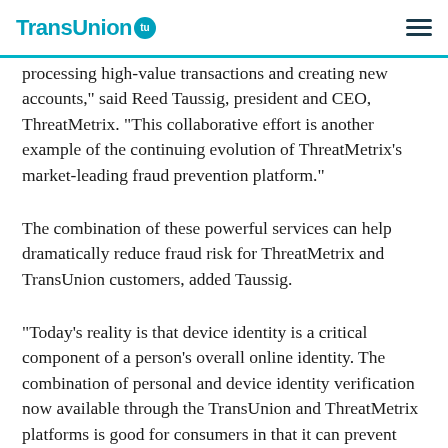TransUnion
processing high-value transactions and creating new accounts," said Reed Taussig, president and CEO, ThreatMetrix. “This collaborative effort is another example of the continuing evolution of ThreatMetrix’s market-leading fraud prevention platform."
The combination of these powerful services can help dramatically reduce fraud risk for ThreatMetrix and TransUnion customers, added Taussig.
“Today’s reality is that device identity is a critical component of a person’s overall online identity. The combination of personal and device identity verification now available through the TransUnion and ThreatMetrix platforms is good for consumers in that it can prevent unauthorized transactions if their